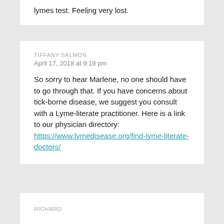lymes test. Feeling very lost.
TIFFANY SALMON
April 17, 2018 at 9:19 pm
So sorry to hear Marlene, no one should have to go through that. If you have concerns about tick-borne disease, we suggest you consult with a Lyme-literate practitioner. Here is a link to our physician directory: https://www.lymedisease.org/find-lyme-literate-doctors/
RICHARD